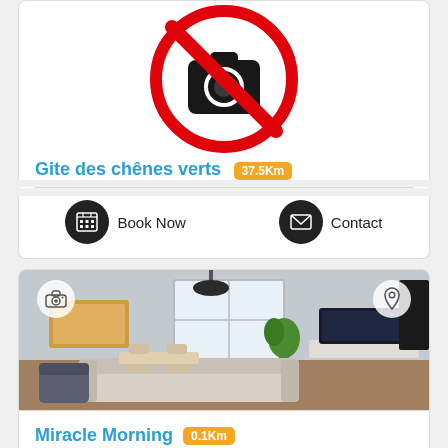[Figure (illustration): No smoking / no photography prohibition sign (red circle with slash) partially visible at top of card]
Gite des chênes verts 37.5Km
Book Now
Contact
[Figure (photo): Interior photo of a living room with sofa, TV, dining table, and plant. Camera icon top-left, location pin icon top-right.]
Miracle Morning 0.1Km